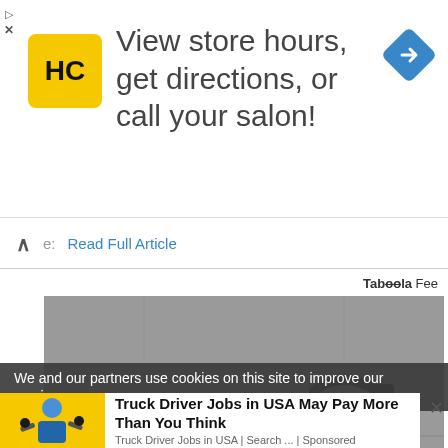[Figure (screenshot): Advertisement banner: HC logo (yellow square with black HC text), headline 'View store hours, get directions, or call your salon!', blue diamond navigation icon on the right, ad controls (play/close) on the left]
Read Full Article
Taboola Fee
[Figure (photo): Futuristic black carbon fiber electric mountain bike (Audi e-bike concept) leaning against a grey concrete wall]
We and our partners use cookies on this site to improve our service,
[Figure (photo): Person (woman in blue hoodie) holding weights in a gym, yellow background]
Truck Driver Jobs in USA May Pay More Than You Think
Truck Driver Jobs in USA | Search ... | Sponsored